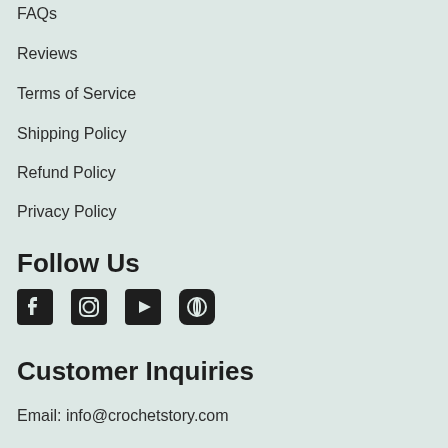FAQs
Reviews
Terms of Service
Shipping Policy
Refund Policy
Privacy Policy
Follow Us
[Figure (infographic): Social media icons: Facebook, Instagram, YouTube, Pinterest]
Customer Inquiries
Email: info@crochetstory.com